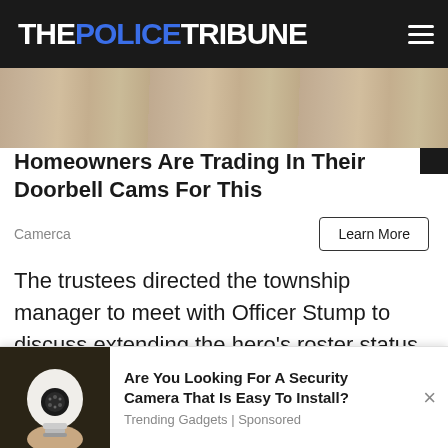THE POLICE TRIBUNE
[Figure (photo): Cropped advertisement image showing a stone/wall background texture]
Homeowners Are Trading In Their Doorbell Cams For This
Camerca
Learn More
The trustees directed the township manager to meet with Officer Stump to discuss extending the hero's roster status and benefits through his hip replacement surgery scheduled for May
[Figure (photo): Advertisement popup showing a light bulb security camera held in a hand]
Are You Looking For A Security Camera That Is Easy To Install?
Trending Gadgets | Sponsored